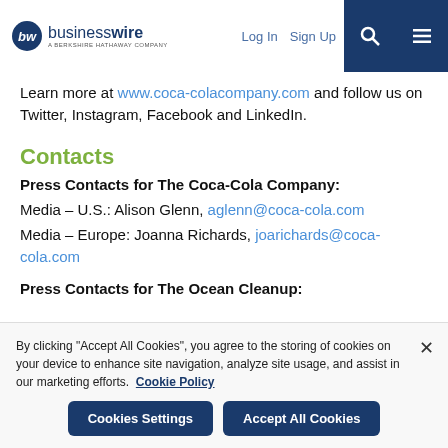businesswire — A BERKSHIRE HATHAWAY COMPANY | Log In | Sign Up
Learn more at www.coca-colacompany.com and follow us on Twitter, Instagram, Facebook and LinkedIn.
Contacts
Press Contacts for The Coca-Cola Company:
Media – U.S.: Alison Glenn, aglenn@coca-cola.com
Media – Europe: Joanna Richards, joarichards@coca-cola.com
Press Contacts for The Ocean Cleanup:
By clicking "Accept All Cookies", you agree to the storing of cookies on your device to enhance site navigation, analyze site usage, and assist in our marketing efforts. Cookie Policy
Cookies Settings | Accept All Cookies